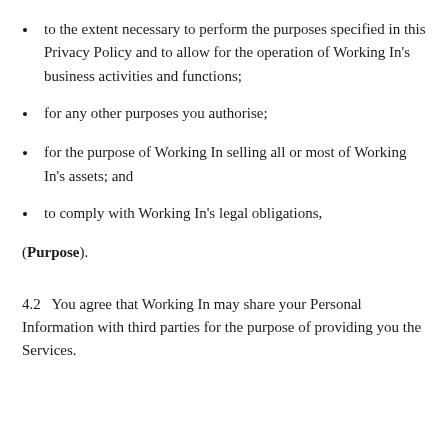to the extent necessary to perform the purposes specified in this Privacy Policy and to allow for the operation of Working In's business activities and functions;
for any other purposes you authorise;
for the purpose of Working In selling all or most of Working In's assets; and
to comply with Working In's legal obligations,
(Purpose).
4.2   You agree that Working In may share your Personal Information with third parties for the purpose of providing you the Services.